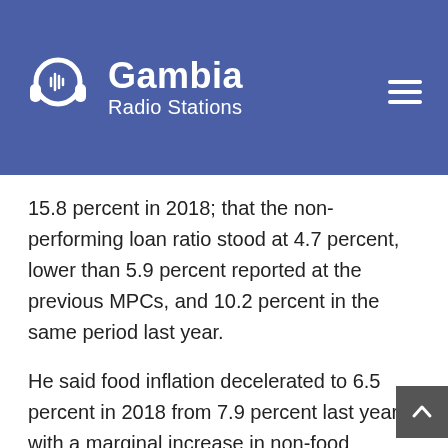Gambia Radio Stations
15.8 percent in 2018; that the non-performing loan ratio stood at 4.7 percent, lower than 5.9 percent reported at the previous MPCs, and 10.2 percent in the same period last year.
He said food inflation decelerated to 6.5 percent in 2018 from 7.9 percent last year, with a marginal increase in non-food inflation attributed largely to the rise in price indices of housing, fuel and lighting, hotels and restaurants, transportation, health, furniture and education.
“Inflation outlook further decelerated towards the Bank’s medium term target of 5 percent,